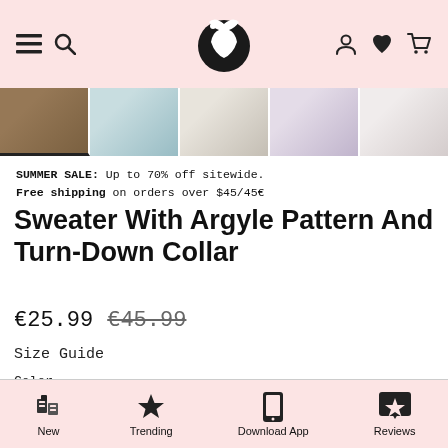[Figure (logo): Moon rabbit logo in dark circle, navigation bar with hamburger menu, search, user, heart, cart icons on pink background]
[Figure (photo): Row of 5 clothing product thumbnail images]
SUMMER SALE: Up to 70% off sitewide.
Free shipping on orders over $45/45€
Sweater With Argyle Pattern And Turn-Down Collar
€25.99  €45.99
Size Guide
Color
White  Blue  Pink
New  Trending  Download App  Reviews